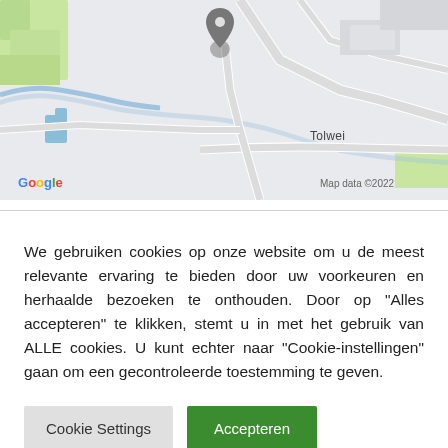[Figure (map): Google Maps screenshot showing a road area with 'Tolwei' label, a location pin marker, a river/canal with green areas on the left side, light gray roads and blocks. Google logo bottom-left, 'Map data ©2022' bottom-right.]
We gebruiken cookies op onze website om u de meest relevante ervaring te bieden door uw voorkeuren en herhaalde bezoeken te onthouden. Door op "Alles accepteren" te klikken, stemt u in met het gebruik van ALLE cookies. U kunt echter naar "Cookie-instellingen" gaan om een gecontroleerde toestemming te geven.
Cookie Settings   Accepteren